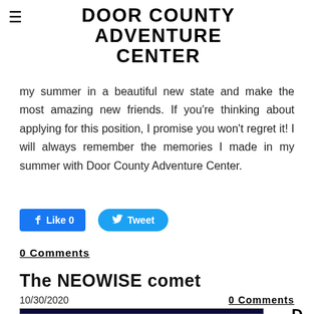DOOR COUNTY ADVENTURE CENTER
my summer in a beautiful new state and make the most amazing new friends. If you're thinking about applying for this position, I promise you won't regret it! I will always remember the memories I made in my summer with Door County Adventure Center.
Like 0   Tweet
0 Comments
The NEOWISE comet
10/30/2020
0 Comments
[Figure (photo): Dark night sky photo preview at bottom of page, partially visible. Letter D visible to the right.]